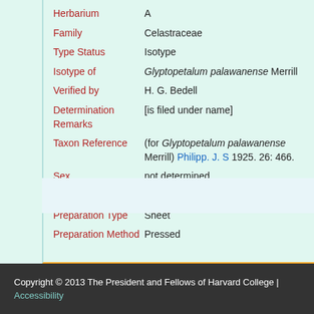| Field | Value |
| --- | --- |
| Herbarium | A |
| Family | Celastraceae |
| Type Status | Isotype |
| Isotype of | Glyptopetalum palawanense Merrill |
| Verified by | H. G. Bedell |
| Determination Remarks | [is filed under name] |
| Taxon Reference | (for Glyptopetalum palawanense Merrill) Philipp. J. S 1925. 26: 466. |
| Sex | not determined |
| Phenology | Fruit |
| Preparation Type | Sheet |
| Preparation Method | Pressed |
Copyright © 2013 The President and Fellows of Harvard College | Accessibility